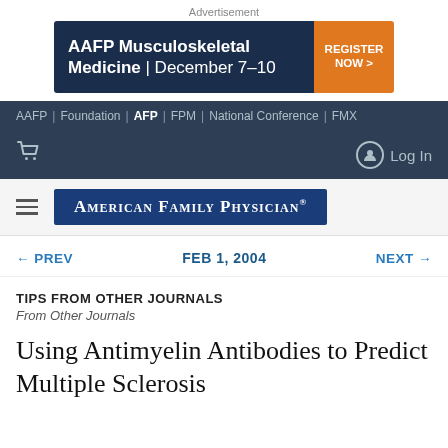[Figure (screenshot): Advertisement banner for AAFP Musculoskeletal Medicine December 7-10 with Register Now button]
AAFP | Foundation | AFP | FPM | National Conference | FMX
Log In
[Figure (logo): American Family Physician logo in dark blue rectangle]
← PREV   FEB 1, 2004   NEXT →
TIPS FROM OTHER JOURNALS
From Other Journals
Using Antimyelin Antibodies to Predict Multiple Sclerosis